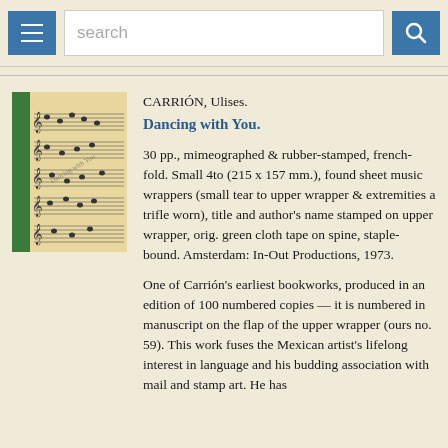search
[Figure (photo): Book cover showing sheet music pages with a green cloth tape spine, mimeographed and rubber-stamped, for 'Dancing with You' by Ulises Carrión]
CARRIÓN, Ulises.
Dancing with You.

30 pp., mimeographed & rubber-stamped, french-fold. Small 4to (215 x 157 mm.), found sheet music wrappers (small tear to upper wrapper & extremities a trifle worn), title and author's name stamped on upper wrapper, orig. green cloth tape on spine, staple-bound. Amsterdam: In-Out Productions, 1973.

One of Carrión's earliest bookworks, produced in an edition of 100 numbered copies — it is numbered in manuscript on the flap of the upper wrapper (ours no. 59). This work fuses the Mexican artist's lifelong interest in language and his budding association with mail and stamp art. He has